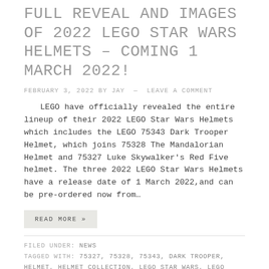FULL REVEAL AND IMAGES OF 2022 LEGO STAR WARS HELMETS – COMING 1 MARCH 2022!
FEBRUARY 3, 2022 BY JAY — LEAVE A COMMENT
LEGO have officially revealed the entire lineup of their 2022 LEGO Star Wars Helmets which includes the LEGO 75343 Dark Trooper Helmet, which joins 75328 The Mandalorian Helmet and 75327 Luke Skywalker's Red Five helmet. The three 2022 LEGO Star Wars Helmets have a release date of 1 March 2022,and can be pre-ordered now from…
READ MORE »
FILED UNDER: NEWS
TAGGED WITH: 75327, 75328, 75343, DARK TROOPER, HELMET, HELMET COLLECTION, LEGO STAR WARS, LEGO